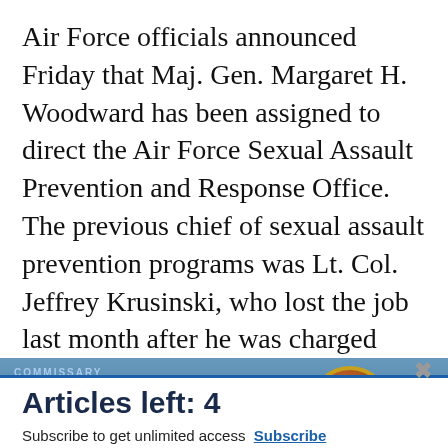Air Force officials announced Friday that Maj. Gen. Margaret H. Woodward has been assigned to direct the Air Force Sexual Assault Prevention and Response Office. The previous chief of sexual assault prevention programs was Lt. Col. Jeffrey Krusinski, who lost the job last month after he was charged with sexual battery. Police say he approached a woman in a
[Figure (screenshot): Commissary Click2Go advertisement banner with green logo and Commissary emblem on blue background]
Articles left: 4
Subscribe to get unlimited access Subscribe
Already have an account? Login here